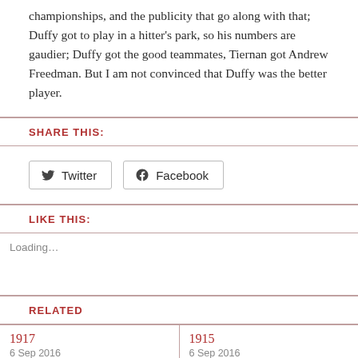championships, and the publicity that go along with that; Duffy got to play in a hitter’s park, so his numbers are gaudier; Duffy got the good teammates, Tiernan got Andrew Freedman. But I am not convinced that Duffy was the better player.
SHARE THIS:
Twitter  Facebook
LIKE THIS:
Loading…
RELATED
1917
6 Sep 2016
1915
6 Sep 2016